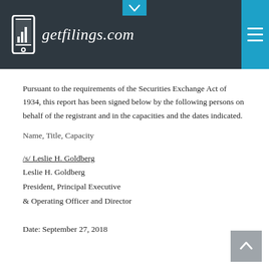getfilings.com
Pursuant to the requirements of the Securities Exchange Act of 1934, this report has been signed below by the following persons on behalf of the registrant and in the capacities and the dates indicated.
Name, Title, Capacity
/s/ Leslie H. Goldberg
Leslie H. Goldberg
President, Principal Executive
& Operating Officer and Director

Date: September 27, 2018